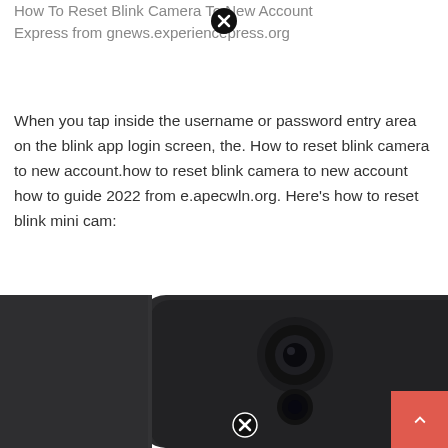How To Reset Blink Camera To New Account Express from gnews.experiencepress.org
When you tap inside the username or password entry area on the blink app login screen, the. How to reset blink camera to new account.how to reset blink camera to new account how to guide 2022 from e.apecwln.org. Here's how to reset blink mini cam:
[Figure (photo): Photo of a Blink mini security camera in dark gray/black, showing the camera lens and motion sensor, with a sync module visible to the right showing Wi-Fi and power indicator lights (blue and green). A red scroll-to-top button with an up arrow is overlaid at the bottom right. Close/X icons are overlaid on the image.]